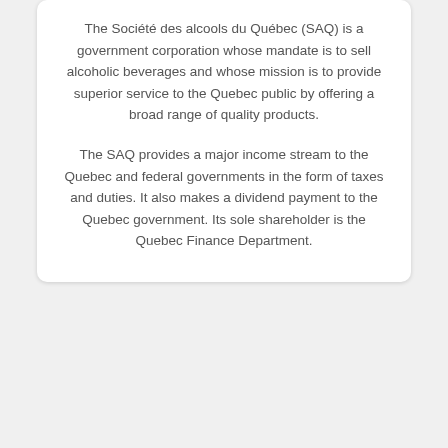The Société des alcools du Québec (SAQ) is a government corporation whose mandate is to sell alcoholic beverages and whose mission is to provide superior service to the Quebec public by offering a broad range of quality products.
The SAQ provides a major income stream to the Quebec and federal governments in the form of taxes and duties. It also makes a dividend payment to the Quebec government. Its sole shareholder is the Quebec Finance Department.